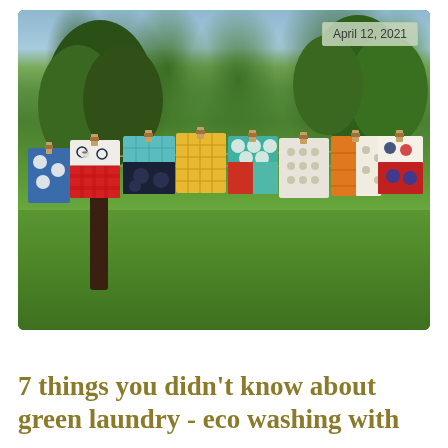[Figure (photo): Colorful patchwork fabric bags hanging on a clothesline in a lush green garden with trees in the background. The bags feature various patterns including red gingham, teal, yellow diamond, navy, and other colorful prints, held by wooden clothespins.]
April 12, 2021
7 things you didn’t know about green laundry - eco washing with